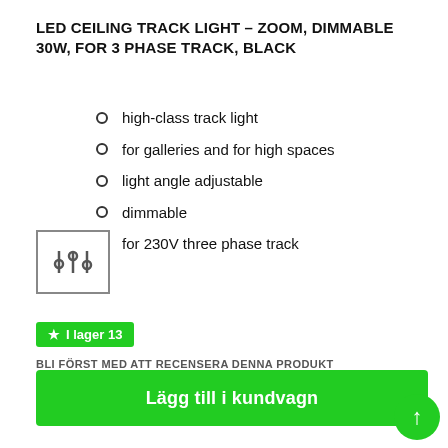LED CEILING TRACK LIGHT – ZOOM, DIMMABLE 30W, FOR 3 PHASE TRACK, BLACK
high-class track light
for galleries and for high spaces
light angle adjustable
dimmable
for 230V three phase track
[Figure (illustration): Icon showing sliders/controls symbol inside a square border]
★ I lager 13
BLI FÖRST MED ATT RECENSERA DENNA PRODUKT
2 093,65 kr
Lägg till i kundvagn